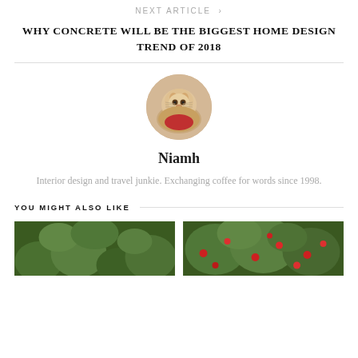NEXT ARTICLE  >
WHY CONCRETE WILL BE THE BIGGEST HOME DESIGN TREND OF 2018
[Figure (photo): Circular avatar photo of a fluffy ginger/cream Persian cat wearing a red outfit, used as an author profile picture]
Niamh
Interior design and travel junkie. Exchanging coffee for words since 1998.
YOU MIGHT ALSO LIKE
[Figure (photo): Partial thumbnail image showing green foliage/garden scene]
[Figure (photo): Partial thumbnail image showing green foliage with red berries]